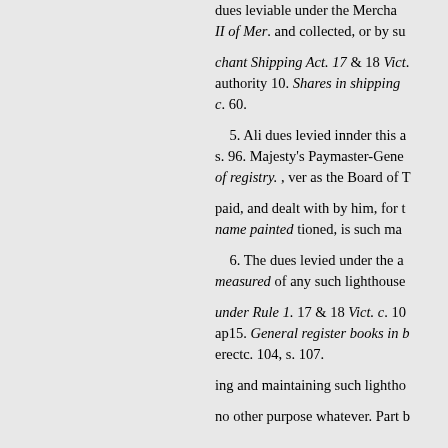dues leviable under the Merchant Shipping Act. II of Mer. and collected, or by such authority 10. Shares in shipping c. 60.
chant Shipping Act. 17 & 18 Vict. authority 10. Shares in shipping c. 60.
5. Ali dues levied innder this a s. 96. Majesty's Paymaster-General of registry. , ver as the Board of T paid, and dealt with by him, for t name painted tioned, is such ma
6. The dues levied under the a measured of any such lighthouse under Rule 1. 17 & 18 Vict. c. 10 ap15. General register books in b erectc. 104, s. 107.
ing and maintaining such lightho no other purpose whatever. Part b
lighthouse, buoy, or beacon as af relief of may raise, upon the socu